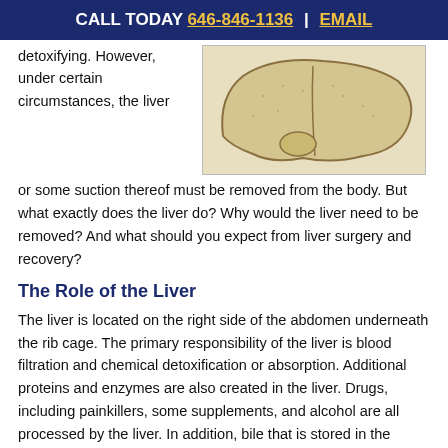CALL TODAY 646-846-1136 | EMAIL
detoxifying. However, under certain circumstances, the liver or some suction thereof must be removed from the body. But what exactly does the liver do? Why would the liver need to be removed? And what should you expect from liver surgery and recovery?
[Figure (illustration): Anatomical illustration of the liver showing its lobes and gallbladder in a beige/tan color scheme]
The Role of the Liver
The liver is located on the right side of the abdomen underneath the rib cage. The primary responsibility of the liver is blood filtration and chemical detoxification or absorption. Additional proteins and enzymes are also created in the liver. Drugs, including painkillers, some supplements, and alcohol are all processed by the liver. In addition, bile that is stored in the gallbladder is created by the liver. Bile is used in digestion and breaks down fats in order to allow them to be absorbed for use by the body.